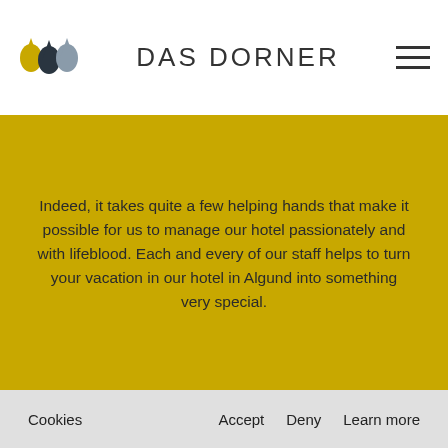[Figure (logo): Das Dorner hotel logo: three teardrop shapes in gold, dark navy, and grey]
DAS DORNER
Indeed, it takes quite a few helping hands that make it possible for us to manage our hotel passionately and with lifeblood. Each and every of our staff helps to turn your vacation in our hotel in Algund into something very special.
Cookies  Accept  Deny  Learn more